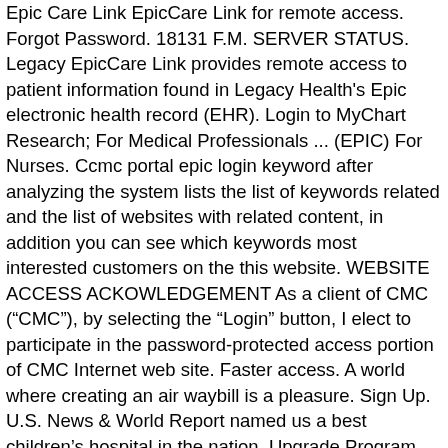Epic Care Link EpicCare Link for remote access. Forgot Password. 18131 F.M. SERVER STATUS. Legacy EpicCare Link provides remote access to patient information found in Legacy Health's Epic electronic health record (EHR). Login to MyChart Research; For Medical Professionals ... (EPIC) For Nurses. Ccmc portal epic login keyword after analyzing the system lists the list of keywords related and the list of websites with related content, in addition you can see which keywords most interested customers on the this website. WEBSITE ACCESS ACKOWLEDGEMENT As a client of CMC (“CMC”), by selecting the “Login” button, I elect to participate in the password-protected access portion of CMC Internet web site. Faster access. A world where creating an air waybill is a pleasure. Sign Up. U.S. News & World Report named us a best children’s hospital in the nation. Upgrade Program. How We’re Keeping You Safe | What Patients & Families Need to Know. 1 0. Use simple filters to control what you see. May 8, 2015 - Take a trip into an upgraded, more organized inbox. Our experts lead breakthrough research and innovative partnerships, and have won awards for everything from nursing excellence to patient. Medication class. Take advantage of our health and ...